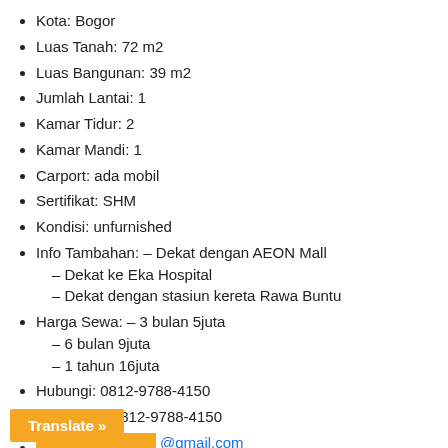Kota: Bogor
Luas Tanah: 72 m2
Luas Bangunan: 39 m2
Jumlah Lantai: 1
Kamar Tidur: 2
Kamar Mandi: 1
Carport: ada mobil
Sertifikat: SHM
Kondisi: unfurnished
Info Tambahan: – Dekat dengan AEON Mall – Dekat ke Eka Hospital – Dekat dengan stasiun kereta Rawa Buntu
Harga Sewa: – 3 bulan 5juta – 6 bulan 9juta – 1 tahun 16juta
Hubungi: 0812-9788-4150
Whatsapp: 0812-9788-4150
[obscured]@gmail.com